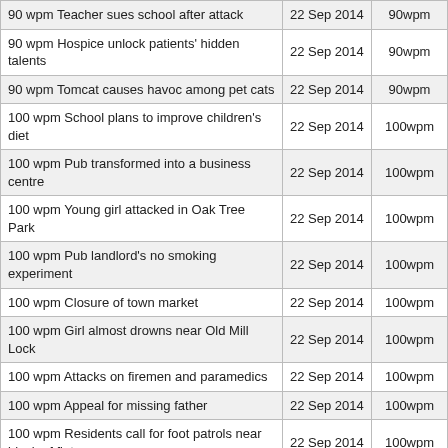|  |  |  |
| --- | --- | --- |
| 90 wpm Teacher sues school after attack | 22 Sep 2014 | 90wpm |
| 90 wpm Hospice unlock patients' hidden talents | 22 Sep 2014 | 90wpm |
| 90 wpm Tomcat causes havoc among pet cats | 22 Sep 2014 | 90wpm |
| 100 wpm School plans to improve children's diet | 22 Sep 2014 | 100wpm |
| 100 wpm Pub transformed into a business centre | 22 Sep 2014 | 100wpm |
| 100 wpm Young girl attacked in Oak Tree Park | 22 Sep 2014 | 100wpm |
| 100 wpm Pub landlord's no smoking experiment | 22 Sep 2014 | 100wpm |
| 100 wpm Closure of town market | 22 Sep 2014 | 100wpm |
| 100 wpm Girl almost drowns near Old Mill Lock | 22 Sep 2014 | 100wpm |
| 100 wpm Attacks on firemen and paramedics | 22 Sep 2014 | 100wpm |
| 100 wpm Appeal for missing father | 22 Sep 2014 | 100wpm |
| 100 wpm Residents call for foot patrols near block of flats | 22 Sep 2014 | 100wpm |
| 100 wpm Wildlife group is gazumped over water meadow | 22 Sep 2014 | 100wpm |
| Dictation passage 2 @ 110 wpm 2.75 mins duration | 22 Sep 2014 | 110wpm |
| 100 wpm Parking restrictions cause fresh problems | 22 Sep 2014 | 100wpm |
| Vandals put lives at risk | 22 Sep 2014 | 100wpm |
| 130 wpm Seaside town has a problem with | 22 Sep 2014 | 130wpm |